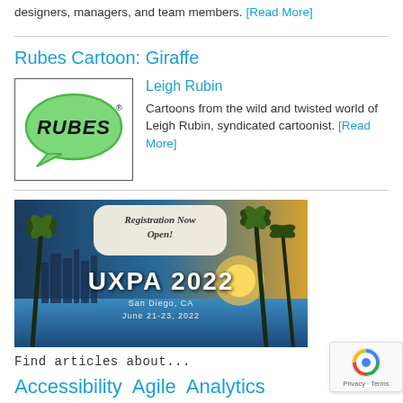designers, managers, and team members. [Read More]
Rubes Cartoon: Giraffe
[Figure (logo): Rubes logo: green speech bubble with 'RUBES' text in black stylized font with registered trademark symbol]
Leigh Rubin
Cartoons from the wild and twisted world of Leigh Rubin, syndicated cartoonist. [Read More]
[Figure (photo): UXPA 2022 conference banner with San Diego skyline and palm trees. Text reads: Registration Now Open! UXPA 2022 San Diego, CA June 21-23, 2022]
Find articles about...
Accessibility Agile Analytics